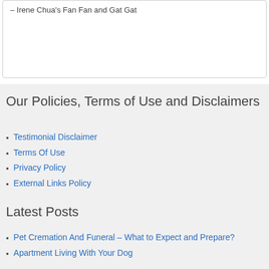– Irene Chua's Fan Fan and Gat Gat
Our Policies, Terms of Use and Disclaimers
Testimonial Disclaimer
Terms Of Use
Privacy Policy
External Links Policy
Latest Posts
Pet Cremation And Funeral – What to Expect and Prepare?
Apartment Living With Your Dog